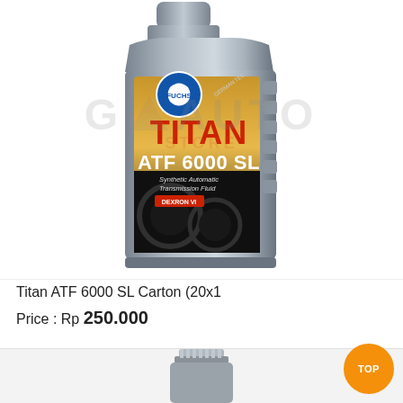[Figure (photo): FUCHS TITAN ATF 6000 SL Synthetic Automatic Transmission Fluid bottle in gray, with red TITAN branding and gold/dark label showing gear imagery. DEXRON VI specification. Store watermark overlay.]
Titan ATF 6000 SL Carton (20x1
Price : Rp 250.000
[Figure (other): Action bar with WhatsApp green circle button, CART button, heart (wishlist) button, and refresh button. Orange TOP scroll button at bottom right. Partial next product image (bottle cap) at bottom.]